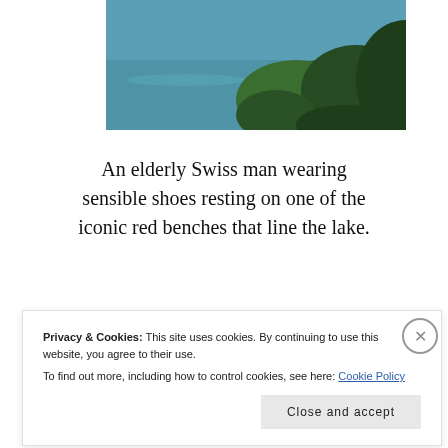[Figure (photo): Partial photo of green leaves with a teal/blue lake visible in the background, cropped at top]
An elderly Swiss man wearing sensible shoes resting on one of the iconic red benches that line the lake.
[Figure (photo): Partial photo showing a red bench and other elements near a lake, partially obscured by cookie consent bar]
Privacy & Cookies: This site uses cookies. By continuing to use this website, you agree to their use.
To find out more, including how to control cookies, see here: Cookie Policy
Close and accept